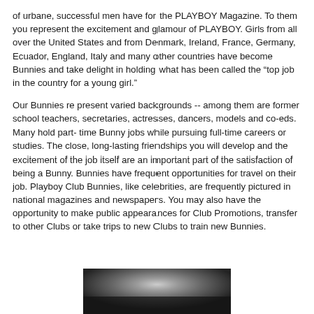of urbane, successful men have for the PLAYBOY Magazine. To them you represent the excitement and glamour of PLAYBOY. Girls from all over the United States and from Denmark, Ireland, France, Germany, Ecuador, England, Italy and many other countries have become Bunnies and take delight in holding what has been called the “top job in the country for a young girl.”
Our Bunnies re present varied backgrounds -- among them are former school teachers, secretaries, actresses, dancers, models and co-eds. Many hold part- time Bunny jobs while pursuing full-time careers or studies. The close, long-lasting friendships you will develop and the excitement of the job itself are an important part of the satisfaction of being a Bunny. Bunnies have frequent opportunities for travel on their job. Playboy Club Bunnies, like celebrities, are frequently pictured in national magazines and newspapers. You may also have the opportunity to make public appearances for Club Promotions, transfer to other Clubs or take trips to new Clubs to train new Bunnies.
[Figure (photo): Black and white photograph, partially visible at the bottom of the page, showing a dark landscape or indoor scene with bright light in the background.]